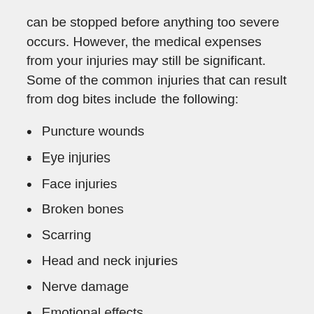can be stopped before anything too severe occurs. However, the medical expenses from your injuries may still be significant. Some of the common injuries that can result from dog bites include the following:
Puncture wounds
Eye injuries
Face injuries
Broken bones
Scarring
Head and neck injuries
Nerve damage
Emotional effects
If you've experienced any of the injuries listed above, or any other injury as a result of a dog